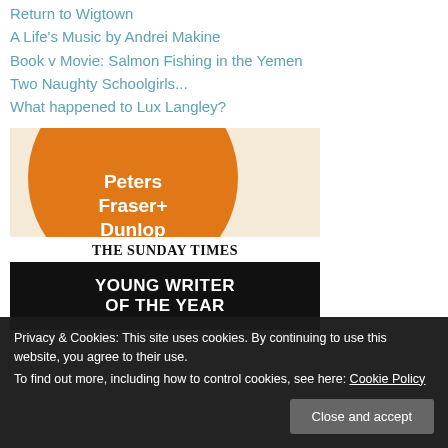Return to Wigtown
A Life's Music by Andrei Makine
Book v Movie: Salmon Fishing in the Yemen
Two Naughty Schoolgirls...
What happened to Lux Langley?
[Figure (logo): Peters Fraser+ Dunlop logo over an orange semicircle, with 'THE SUNDAY TIMES YOUNG WRITER OF THE YEAR' below in black and white bars]
Privacy & Cookies: This site uses cookies. By continuing to use this website, you agree to their use. To find out more, including how to control cookies, see here: Cookie Policy